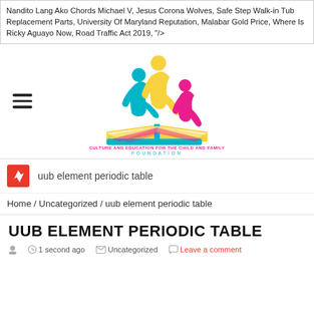Nandito Lang Ako Chords Michael V, Jesus Corona Wolves, Safe Step Walk-in Tub Replacement Parts, University Of Maryland Reputation, Malabar Gold Price, Where Is Ricky Aguayo Now, Road Traffic Act 2019, "/>
[Figure (logo): Culture and Education for the Child and Family Foundation logo: three stylized figures (cyan, yellow, pink) above an open book, with text 'CULTURE AND EDUCATION FOR THE CHILD AND FAMILY FOUNDATION']
uub element periodic table
Home / Uncategorized / uub element periodic table
UUB ELEMENT PERIODIC TABLE
1 second ago  Uncategorized  Leave a comment